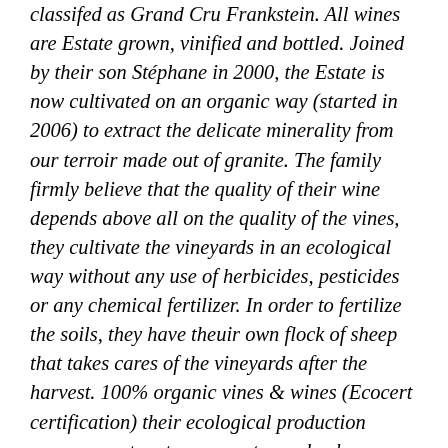classifed as Grand Cru Frankstein. All wines are Estate grown, vinified and bottled. Joined by their son Stéphane in 2000, the Estate is now cultivated on an organic way (started in 2006) to extract the delicate minerality from our terroir made out of granite. The family firmly believe that the quality of their wine depends above all on the quality of the vines, they cultivate the vineyards in an ecological way without any use of herbicides, pesticides or any chemical fertilizer. In order to fertilize the soils, they have theuir own flock of sheep that takes cares of the vineyards after the harvest. 100% organic vines & wines (Ecocert certification) their ecological production management system promotes and enhances biodiversity, paying particular attention to the health of the soil. This biodiversity makes for excellent soil structure by providing a complex root system at varied depths. These roots (as well as their breakdown) provide organic material and aerate the